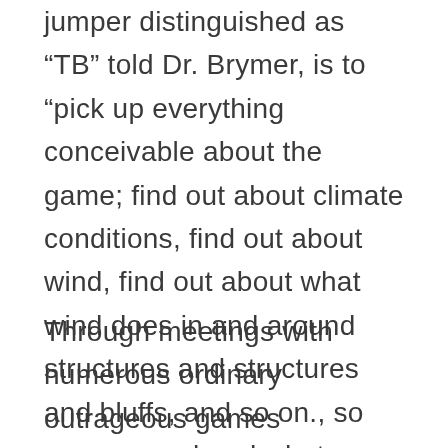jumper distinguished as “TB” told Dr. Brymer, is to “pick up everything conceivable about the game; find out about climate conditions, find out about wind, find out about what wind does in and around structures and structures and bluffs, and so on., so you comprehend what you can do and what you can’t do.”
Through meetings with numerous ordinary outrageous games members, specialists have discovered that the enthusiastic high turns out to be less